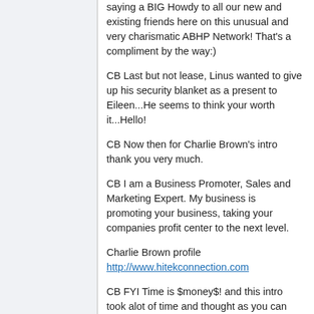saying a BIG Howdy to all our new and existing friends here on this unusual and very charismatic ABHP Network! That's a compliment by the way:)
CB Last but not lease, Linus wanted to give up his security blanket as a present to Eileen...He seems to think your worth it...Hello!
CB Now then for Charlie Brown's intro thank you very much.
CB I am a Business Promoter, Sales and Marketing Expert. My business is promoting your business, taking your companies profit center to the next level.
Charlie Brown profile http://www.hitekconnection.com
CB FYI Time is $money$! and this intro took alot of time and thought as you can see. So with that in mind I will be invoicing the network soon...Don't worry I'm one of the good guys, I'll give you this months discounted rate as I view you as a friend:)